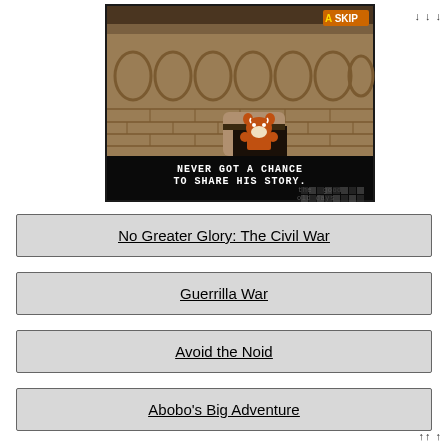[Figure (screenshot): Retro pixel-art video game screenshot showing a dungeon/castle interior with stone brick walls and oval decorations. A cartoon animal character (dog/bear-like, orange) peeks from a doorway. Black dialog bar at bottom reads 'NEVER GOT A CHANCE TO SHARE HIS STORY.' with watermark 'the good old days'. Top right shows orange 'A SKIP' button.]
No Greater Glory: The Civil War
Guerrilla War
Avoid the Noid
Abobo's Big Adventure